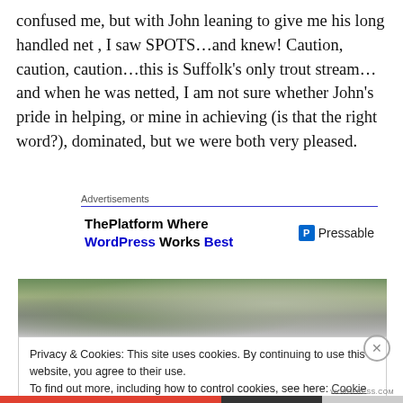confused me, but with John leaning to give me his long handled net , I saw SPOTS…and knew! Caution, caution, caution…this is Suffolk's only trout stream…and when he was netted, I am not sure whether John's pride in helping, or mine in achieving (is that the right word?), dominated, but we were both very pleased.
[Figure (screenshot): Advertisement block with 'Advertisements' label, showing 'ThePlatform Where WordPress Works Best' and Pressable logo]
[Figure (photo): Partial photo of a person outdoors among trees]
Privacy & Cookies: This site uses cookies. By continuing to use this website, you agree to their use.
To find out more, including how to control cookies, see here: Cookie Policy